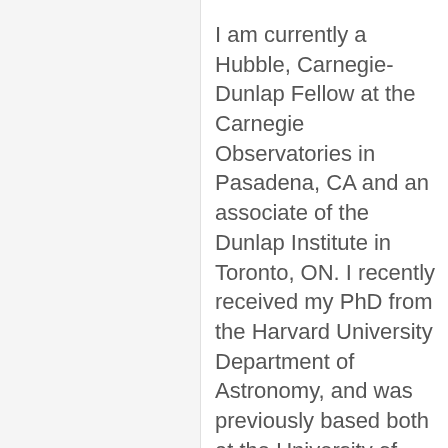I am currently a Hubble, Carnegie-Dunlap Fellow at the Carnegie Observatories in Pasadena, CA and an associate of the Dunlap Institute in Toronto, ON. I recently received my PhD from the Harvard University Department of Astronomy, and was previously based both at the University of Cambridge (M.A.St.) and the University of Iowa (B.S.). My research focuses on understanding the evolution and death of massive stars, and the origin of unusual